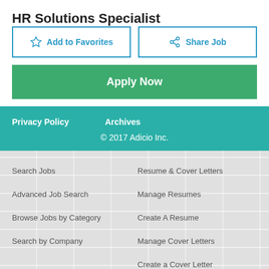HR Solutions Specialist
Add to Favorites
Share Job
Apply Now
Privacy Policy   Archives
© 2017 Adicio Inc.
Search Jobs
Advanced Job Search
Browse Jobs by Category
Search by Company
Resume & Cover Letters
Manage Resumes
Create A Resume
Manage Cover Letters
Create a Cover Letter
Job Search Tools
Account Information